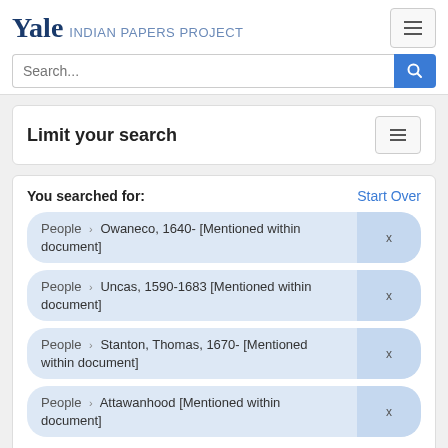Yale INDIAN PAPERS PROJECT
Limit your search
You searched for:
People › Owaneco, 1640- [Mentioned within document]
People › Uncas, 1590-1683 [Mentioned within document]
People › Stanton, Thomas, 1670- [Mentioned within document]
People › Attawanhood [Mentioned within document]